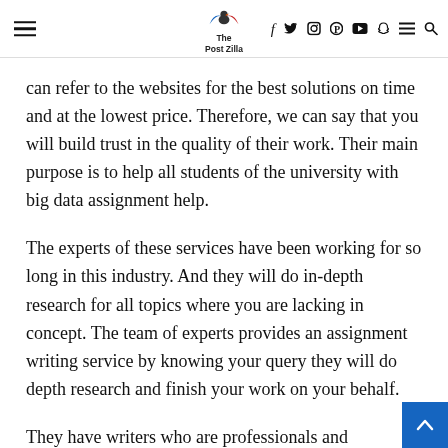The Post Zilla — navigation header with logo and social icons
can refer to the websites for the best solutions on time and at the lowest price. Therefore, we can say that you will build trust in the quality of their work. Their main purpose is to help all students of the university with big data assignment help.
The experts of these services have been working for so long in this industry. And they will do in-depth research for all topics where you are lacking in concept. The team of experts provides an assignment writing service by knowing your query they will do depth research and finish your work on your behalf.
They have writers who are professionals and have long experience of work. Further, they can assist you in writin